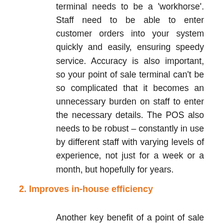terminal needs to be a 'workhorse'. Staff need to be able to enter customer orders into your system quickly and easily, ensuring speedy service. Accuracy is also important, so your point of sale terminal can't be so complicated that it becomes an unnecessary burden on staff to enter the necessary details. The POS also needs to be robust – constantly in use by different staff with varying levels of experience, not just for a week or a month, but hopefully for years.
2. Improves in-house efficiency
Another key benefit of a point of sale system